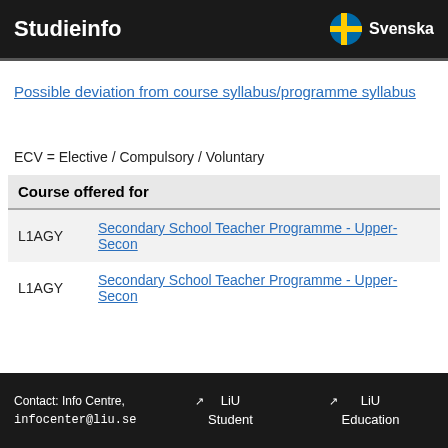Studieinfo   Svenska
Possible deviation from course syllabus/programme syllabus
ECV = Elective / Compulsory / Voluntary
| Course offered for |
| --- |
| L1AGY | Secondary School Teacher Programme - Upper-Secon |
| L1AGY | Secondary School Teacher Programme - Upper-Secon |
Contact: Info Centre, infocenter@liu.se   LiU Student   LiU Education